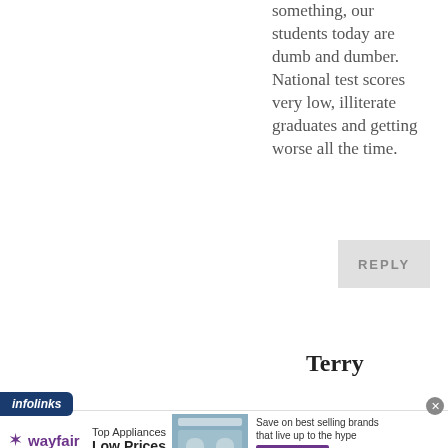something, our students today are dumb and dumber. National test scores very low, illiterate graduates and getting worse all the time.
REPLY
Terry
[Figure (screenshot): Infolinks ad label badge and Wayfair advertisement banner showing 'Top Appliances Low Prices' with appliance image and 'Shop now' button]